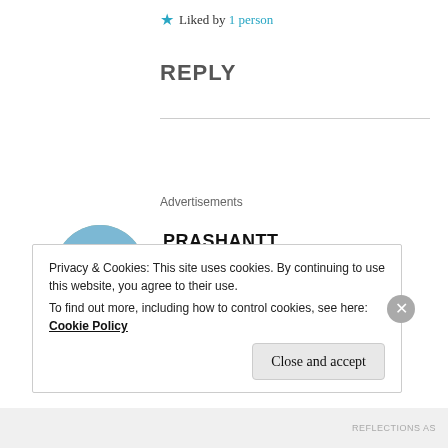★ Liked by 1 person
REPLY
Advertisements
[Figure (photo): Circular avatar photo of user Prashantt, showing a person outdoors near a rocky hillside]
PRASHANTT
Sep 8, 2020 at 5:35 pm
Privacy & Cookies: This site uses cookies. By continuing to use this website, you agree to their use.
To find out more, including how to control cookies, see here: Cookie Policy
Close and accept